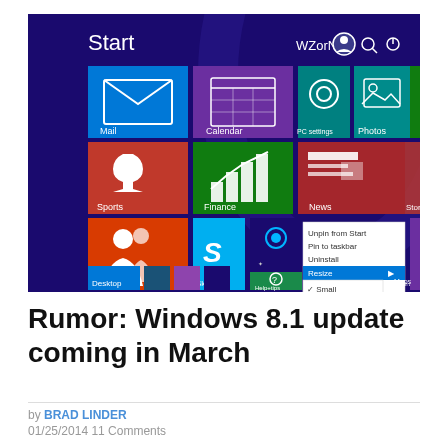[Figure (screenshot): Windows 8.1 Start screen showing live tiles (Mail, Calendar, PC Settings, Photos, Sports, Finance, News, Store, People, Skype, Desktop, Maps, Health & Fitness) with a right-click context menu open showing options: Unpin from Start, Pin to taskbar, Uninstall, Resize (with submenu: Small checked, Medium, Wide, Large). The screen header shows 'Start', 'WZorNET', a user icon, search icon, and power icon on a dark purple/blue background.]
Rumor: Windows 8.1 update coming in March
by BRAD LINDER
01/25/2014 11 Comments